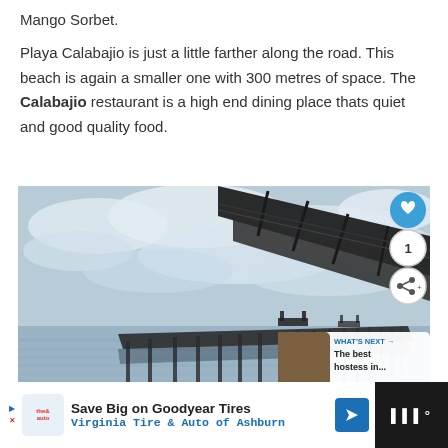Mango Sorbet.
Playa Calabajio is just a little farther along the road. This beach is again a smaller one with 300 metres of space. The Calabajio restaurant is a high end dining place thats quiet and good quality food.
[Figure (photo): A long pier or industrial bridge structure extending over calm water, shot from the shoreline with rocky foreground and overcast sky. UI overlays include a heart/like button, share count of 1, share button, and a 'What's Next' thumbnail with text 'The best hostess in...']
[Figure (infographic): Advertisement banner: 'Save Big on Goodyear Tires - Virginia Tire & Auto of Ashburn' with the Auto logo and a blue navigation arrow icon.]